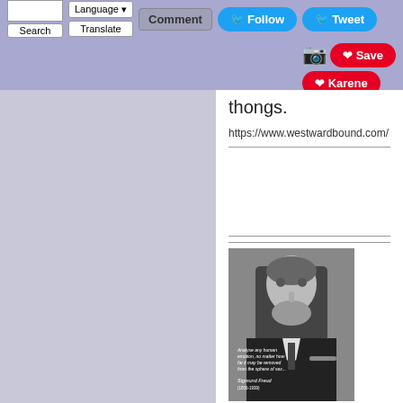Search | Language | Translate | Comment | Follow | Tweet | Save | Karene
thongs.
https://www.westwardbound.com/
[Figure (photo): Black and white portrait photograph of Sigmund Freud with overlaid quote text]
Analyse any human emotion, no matter how far it may be removed from the sphere of sex, and you are sure to discover somewhere the primal impulse, to which life owes its perpetuation. ... The primitive stages can always be re-established; the